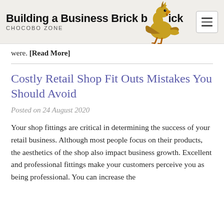Building a Business Brick by Brick — CHOCOBO ZONE
were. [Read More]
Costly Retail Shop Fit Outs Mistakes You Should Avoid
Posted on 24 August 2020
Your shop fittings are critical in determining the success of your retail business. Although most people focus on their products, the aesthetics of the shop also impact business growth. Excellent and professional fittings make your customers perceive you as being professional. You can increase the